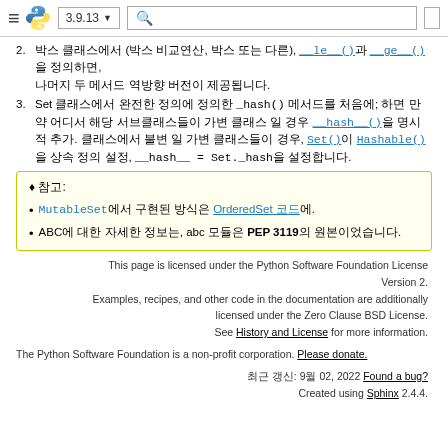≡ [Python logo] 3.9.13 ▼ [search] [grid]
2. 박스 클래스에서 (박스 비교연산, 박스 또는 다른), __le__()과 __ge__()을 정의하면, 나머지 두 메서드 역방향 버전이 제공됩니다.
3. Set 클래스에서 완전한 정의에 정의한 _hash_() 메서드를 처음에; 하면 만약 어디서 해당 서브클래스들이 가변 클래스 일 경우 __hash__()을 명시적 추가. 클래스에서 불변 일 가변 클래스들이 경우, Set()이 Hashable()을 상속 정의 설정, __hash__ = Set._hash을 설정합니다.
♦ 참고:
MutableSet에서 구현된 방식은 OrderedSet 코드에.
ABC에 대한 자세한 정보는, abc 모듈은 PEP 3119의 원본이었습니다.
This page is licensed under the Python Software Foundation License Version 2. Examples, recipes, and other code in the documentation are additionally licensed under the Zero Clause BSD License. See History and License for more information.
The Python Software Foundation is a non-profit corporation. Please donate.
최근 갱신: 9월 02, 2022 Found a bug? Created using Sphinx 2.4.4.